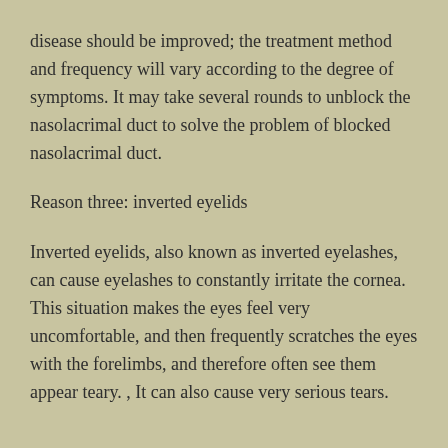disease should be improved; the treatment method and frequency will vary according to the degree of symptoms. It may take several rounds to unblock the nasolacrimal duct to solve the problem of blocked nasolacrimal duct.
Reason three: inverted eyelids
Inverted eyelids, also known as inverted eyelashes, can cause eyelashes to constantly irritate the cornea. This situation makes the eyes feel very uncomfortable, and then frequently scratches the eyes with the forelimbs, and therefore often see them appear teary. , It can also cause very serious tears.